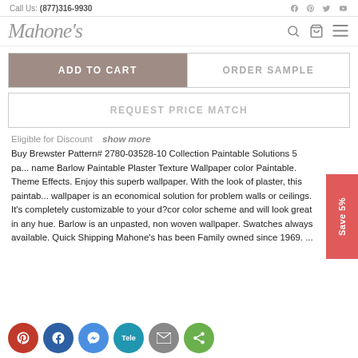Call Us: (877)316-9930
[Figure (logo): Mahone's cursive logo with search, cart, and hamburger menu icons]
ADD TO CART
ORDER SAMPLE
REQUEST PRICE MATCH
Eligible for Discount   show more
Buy Brewster Pattern# 2780-03528-10 Collection Paintable Solutions 5 pa... name Barlow Paintable Plaster Texture Wallpaper color Paintable. Theme Effects. Enjoy this superb wallpaper. With the look of plaster, this paintab... wallpaper is an economical solution for problem walls or ceilings. It's completely customizable to your d?cor color scheme and will look great in any hue. Barlow is an unpasted, non woven wallpaper. Swatches always available. Quick Shipping Mahone's has been Family owned since 1969. ...
[Figure (infographic): Save 5% red vertical badge on right side]
[Figure (infographic): Social share buttons: Pinterest, Facebook, Messenger, Telegram, Email, Share]